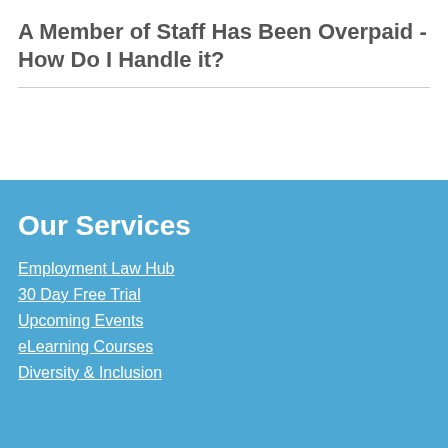A Member of Staff Has Been Overpaid - How Do I Handle it?
Our Services
Employment Law Hub
30 Day Free Trial
Upcoming Events
eLearning Courses
Diversity & Inclusion